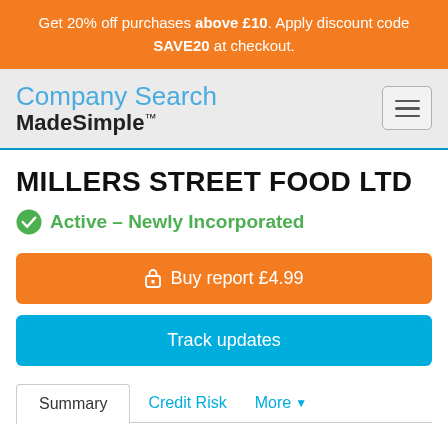Get 20% off purchases above £10. Apply discount code SAVE20 at checkout.
[Figure (logo): Company Search MadeSimple logo with navigation menu button]
MILLERS STREET FOOD LTD
Active – Newly Incorporated
Buy report £4.99
Track updates
Summary | Credit Risk | More